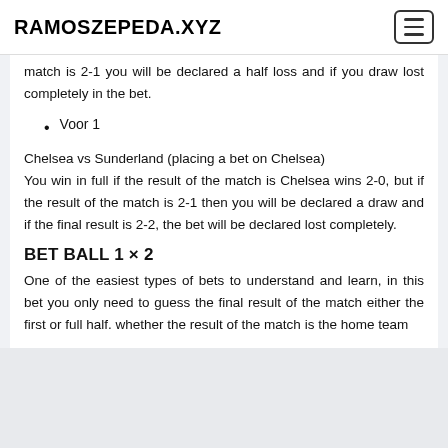RAMOSZEPEDA.XYZ
match is 2-1 you will be declared a half loss and if you draw lost completely in the bet.
Voor 1
Chelsea vs Sunderland (placing a bet on Chelsea) You win in full if the result of the match is Chelsea wins 2-0, but if the result of the match is 2-1 then you will be declared a draw and if the final result is 2-2, the bet will be declared lost completely.
BET BALL 1 × 2
One of the easiest types of bets to understand and learn, in this bet you only need to guess the final result of the match either the first or full half. whether the result of the match is the home team